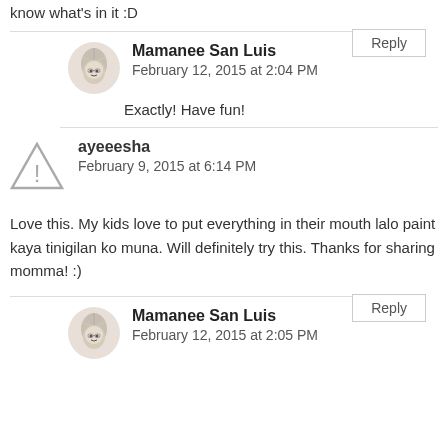know what's in it :D
Reply
Mamanee San Luis
February 12, 2015 at 2:04 PM
Exactly! Have fun!
ayeeesha
February 9, 2015 at 6:14 PM
Love this. My kids love to put everything in their mouth lalo paint kaya tinigilan ko muna. Will definitely try this. Thanks for sharing momma! :)
Reply
Mamanee San Luis
February 12, 2015 at 2:05 PM